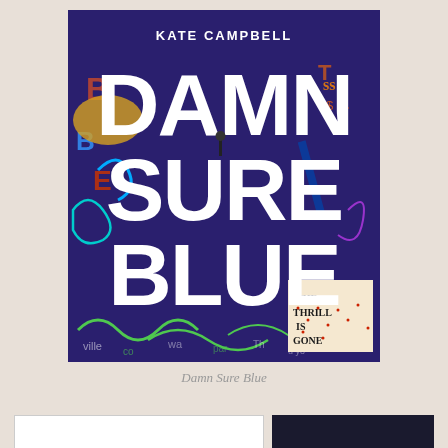[Figure (illustration): Book cover for 'Damn Sure Blue' by Kate Campbell. Dark purple/blue background covered with colorful graffiti-style letters, swirls, and text fragments. Large white bold block letters spell out 'DAMN SURE BLUE' stacked in three rows. 'KATE CAMPBELL' appears in smaller white text at the top center. Bottom right corner has a white box with text 'THE THRILL IS GONE' in black handwritten style.]
Damn Sure Blue